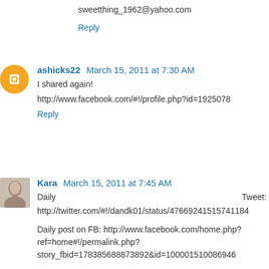sweetthing_1962@yahoo.com
Reply
ashicks22  March 15, 2011 at 7:30 AM
I shared again!
http://www.facebook.com/#!/profile.php?id=1925078
Reply
Kara  March 15, 2011 at 7:45 AM
Daily Tweet: http://twitter.com/#!/dandk01/status/47669241515741184
Daily post on FB: http://www.facebook.com/home.php?ref=home#!/permalink.php?story_fbid=178385688873892&id=100001510086946
kara.kpdesigns at gmail dot com